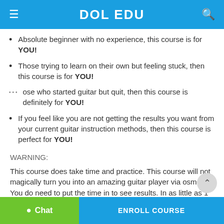DOL EDU
Absolute beginner with no experience, this course is for YOU!
Those trying to learn on their own but feeling stuck, then this course is for YOU!
Those who started guitar but quit, then this course is definitely for YOU!
If you feel like you are not getting the results you want from your current guitar instruction methods, then this course is perfect for YOU!
WARNING:
This course does take time and practice. This course will not magically turn you into an amazing guitar player via osmosis. You do need to put the time in to see results. In as little as 15...